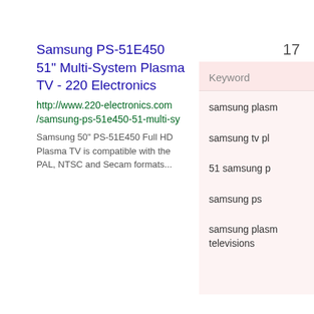17
Samsung PS-51E450 51" Multi-System Plasma TV - 220 Electronics
http://www.220-electronics.com/samsung-ps-51e450-51-multi-sy
Samsung 50" PS-51E450 Full HD Plasma TV is compatible with the PAL, NTSC and Secam formats...
Keyword
samsung plasm
samsung tv pl
51 samsung p
samsung ps
samsung plasm televisions